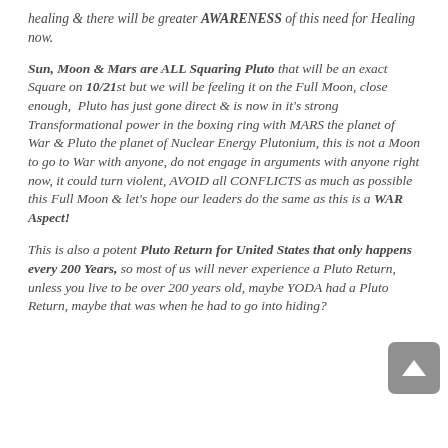healing & there will be greater AWARENESS of this need for Healing now.
Sun, Moon & Mars are ALL Squaring Pluto that will be an exact Square on 10/21st but we will be feeling it on the Full Moon, close enough, Pluto has just gone direct & is now in it's strong Transformational power in the boxing ring with MARS the planet of War & Pluto the planet of Nuclear Energy Plutonium, this is not a Moon to go to War with anyone, do not engage in arguments with anyone right now, it could turn violent, AVOID all CONFLICTS as much as possible this Full Moon & let's hope our leaders do the same as this is a WAR Aspect!
This is also a potent Pluto Return for United States that only happens every 200 Years, so most of us will never experience a Pluto Return, unless you live to be over 200 years old, maybe YODA had a Pluto Return, maybe that was when he had to go into hiding?